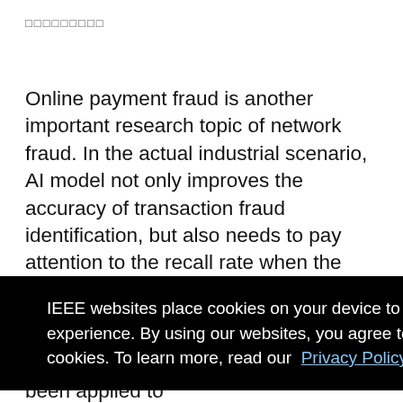□□□□□□□□□
Online payment fraud is another important research topic of network fraud. In the actual industrial scenario, AI model not only improves the accuracy of transaction fraud identification, but also needs to pay attention to the recall rate when the user disturbance rate is low.
IEEE websites place cookies on your device to give you the best user experience. By using our websites, you agree to the placement of these cookies. To learn more, read our Privacy Policy.
Accept & Close
▲ Back to Top
fields. Relevant research results have been applied to